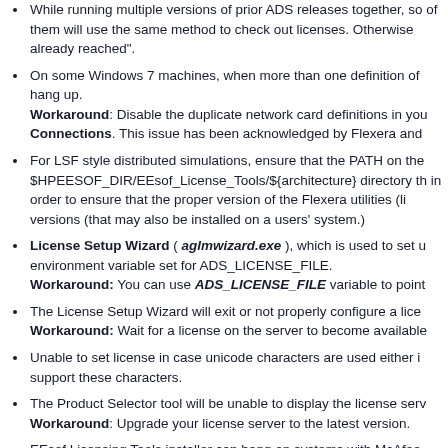While running multiple versions of prior ADS releases together, so of them will use the same method to check out licenses. Otherwise already reached".
On some Windows 7 machines, when more than one definition of hang up.
Workaround: Disable the duplicate network card definitions in you Connections. This issue has been acknowledged by Flexera and
For LSF style distributed simulations, ensure that the PATH on the $HPEESOF_DIR/EEsof_License_Tools/${architecture} directory th in order to ensure that the proper version of the Flexera utilities (li versions (that may also be installed on a users' system.)
License Setup Wizard ( aglmwizard.exe ), which is used to set u environment variable set for ADS_LICENSE_FILE.
Workaround: You can use ADS_LICENSE_FILE variable to point
The License Setup Wizard will exit or not properly configure a lice
Workaround: Wait for a license on the server to become available
Unable to set license in case unicode characters are used either i support these characters.
The Product Selector tool will be unable to display the license serv
Workaround: Upgrade your license server to the latest version.
EEsof Licensing Tools installer can hang on systems with McAfee
Workaround: Prior to installing EEsof Licensing Tools, temporaril